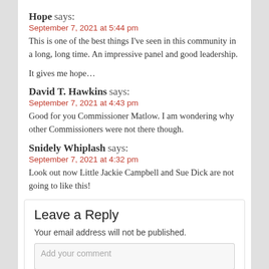Hope says:
September 7, 2021 at 5:44 pm
This is one of the best things I've seen in this community in a long, long time. An impressive panel and good leadership.

It gives me hope…
David T. Hawkins says:
September 7, 2021 at 4:43 pm
Good for you Commissioner Matlow. I am wondering why other Commissioners were not there though.
Snidely Whiplash says:
September 7, 2021 at 4:32 pm
Look out now Little Jackie Campbell and Sue Dick are not going to like this!
Leave a Reply
Your email address will not be published.
Add your comment